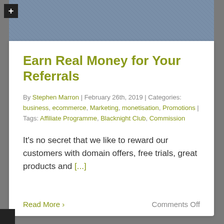[Figure (photo): Top portion of a blog post card showing a denim/fabric background image]
Earn Real Money for Your Referrals
By Stephen Marron | February 26th, 2019 | Categories: business, ecommerce, Marketing, monetisation, Promotions | Tags: Affiliate Programme, Blacknight Club, Commission
It's no secret that we like to reward our customers with domain offers, free trials, great products and [...]
Read More ›
Comments Off